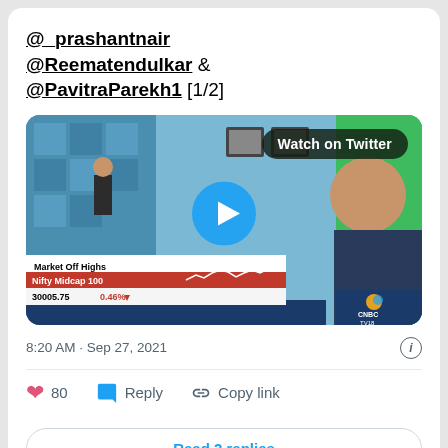@_prashantnair @Reematendulkar & @PavitraParekh1 [1/2]
[Figure (screenshot): A video thumbnail from CNBC TV18 showing a news anchor in studio and a guest on screen. Lower third shows 'Market Off Highs', 'Nifty Midcap 100', '30005.75', '0.46%' with a red downward arrow. A 'Watch on Twitter' badge appears top right and a blue play button is centered.]
8:20 AM · Sep 27, 2021
80  Reply  Copy link
Read 2 replies